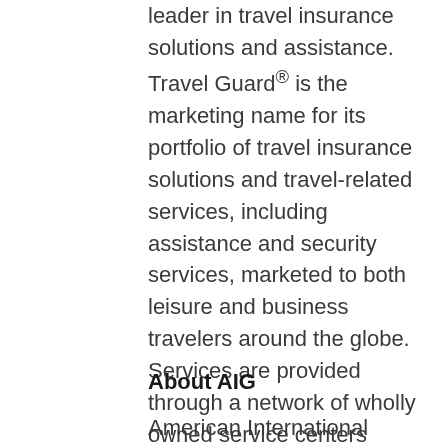leader in travel insurance solutions and assistance. Travel Guard® is the marketing name for its portfolio of travel insurance solutions and travel-related services, including assistance and security services, marketed to both leisure and business travelers around the globe. Services are provided through a network of wholly owned service centers located in Asia, Europe and the Americas. For additional information, please visit our websites at www.travelguardworldwide.com and www.travelguard.com.
About AIG
American International Group, Inc. (AIG) is a